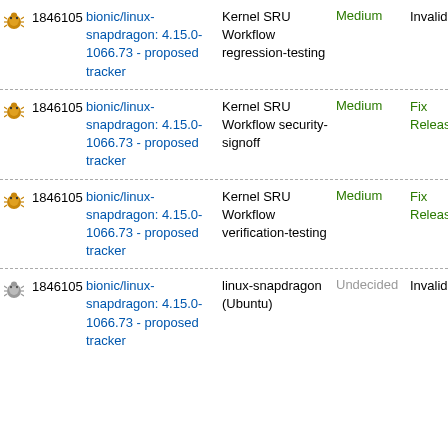|  | ID | Title | Task | Importance | Status |
| --- | --- | --- | --- | --- | --- |
| 🐛 | 1846105 | bionic/linux-snapdragon: 4.15.0-1066.73 - proposed tracker | Kernel SRU Workflow regression-testing | Medium | Invalid |
| 🐛 | 1846105 | bionic/linux-snapdragon: 4.15.0-1066.73 - proposed tracker | Kernel SRU Workflow security-signoff | Medium | Fix Released |
| 🐛 | 1846105 | bionic/linux-snapdragon: 4.15.0-1066.73 - proposed tracker | Kernel SRU Workflow verification-testing | Medium | Fix Released |
| 🐛 | 1846105 | bionic/linux-snapdragon: 4.15.0-1066.73 - proposed tracker | linux-snapdragon (Ubuntu) | Undecided | Invalid |